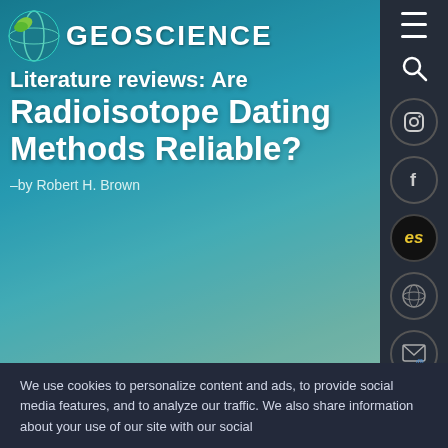[Figure (screenshot): Geoscience website header with hero image showing teal/blue background with nature imagery. GEOSCIENCE logo with globe icon in top left. Navigation hamburger menu and search icon in top right.]
Literature reviews: Are Radioisotope Dating Methods Reliable?
–by Robert H. Brown
> ARTICLES > ORIGINS >1998 – VOLUME 25-2
DOWNLOAD PDF >
June 1, 1998
THE MYTHOLOGY OF MODERN DATING METHODS
We use cookies to personalize content and ads, to provide social media features, and to analyze our traffic. We also share information about your use of our site with our social